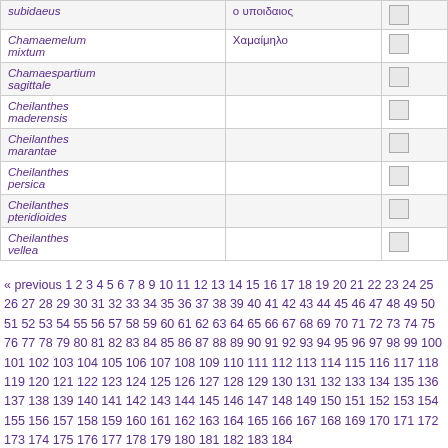| Species | Common name |  |
| --- | --- | --- |
| subidaeus | ο υποιδαιος | ☐ |
| Chamaemelum mixtum | Χαμαίμηλο | ☐ |
| Chamaespartium sagittale |  | ☐ |
| Cheilanthes maderensis |  | ☐ |
| Cheilanthes marantae |  | ☐ |
| Cheilanthes persica |  | ☐ |
| Cheilanthes pteridioides |  | ☐ |
| Cheilanthes vellea |  | ☐ |
« previous 1 2 3 4 5 6 7 8 9 10 11 12 13 14 15 16 17 18 19 20 21 22 23 24 25 26 27 28 29 30 31 32 33 34 35 36 37 38 39 40 41 42 43 44 45 46 47 48 49 50 51 52 53 54 55 56 57 58 59 60 61 62 63 64 65 66 67 68 69 70 71 72 73 74 75 76 77 78 79 80 81 82 83 84 85 86 87 88 89 90 91 92 93 94 95 96 97 98 99 100 101 102 103 104 105 106 107 108 109 110 111 112 113 114 115 116 117 118 119 120 121 122 123 124 125 126 127 128 129 130 131 132 133 134 135 136 137 138 139 140 141 142 143 144 145 146 147 148 149 150 151 152 153 154 155 156 157 158 159 160 161 162 163 164 165 166 167 168 169 170 171 172 173 174 175 176 177 178 179 180 181 182 183 184